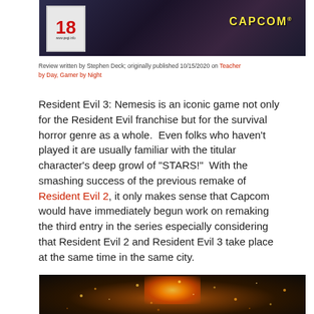[Figure (photo): Top banner image showing Resident Evil 3 game cover with PEGI 18 rating badge on the left and CAPCOM logo on the right, dark moody background with character figures]
Review written by Stephen Deck; originally published 10/15/2020 on Teacher by Day, Gamer by Night
Resident Evil 3: Nemesis is an iconic game not only for the Resident Evil franchise but for the survival horror genre as a whole. Even folks who haven't played it are usually familiar with the titular character's deep growl of "STARS!" With the smashing success of the previous remake of Resident Evil 2, it only makes sense that Capcom would have immediately begun work on remaking the third entry in the series especially considering that Resident Evil 2 and Resident Evil 3 take place at the same time in the same city.
[Figure (photo): Bottom image showing a dark scene with fire/explosion effects and bokeh lights, likely in-game screenshot from Resident Evil 3]